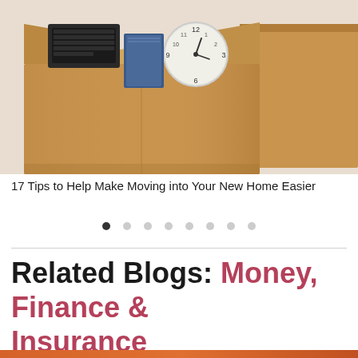[Figure (photo): A cardboard moving box with a keyboard, blue folder/book, and analog clock visible inside, with additional boxes in the background on a light wall background.]
17 Tips to Help Make Moving into Your New Home Easier
Related Blogs: Money, Finance & Insurance